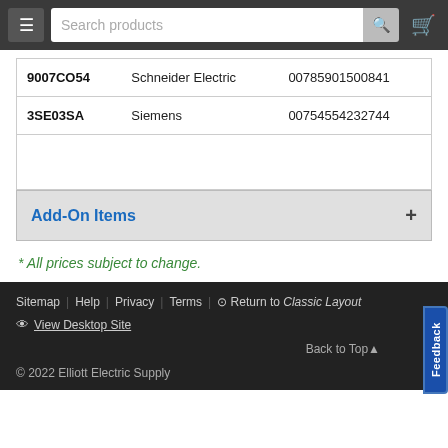Search products
| 9007CO54 | Schneider Electric | 00785901500841 |
| 3SE03SA | Siemens | 00754554232744 |
Add-On Items
* All prices subject to change.
Sitemap  Help  Privacy  Terms  Return to Classic Layout  View Desktop Site  Back to Top  © 2022 Elliott Electric Supply